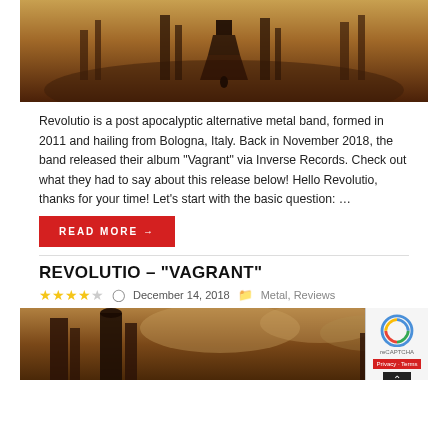[Figure (illustration): Post-apocalyptic dystopian cityscape with dark sepia tones, ruins and industrial structures]
Revolutio is a post apocalyptic alternative metal band, formed in 2011 and hailing from Bologna, Italy. Back in November 2018, the band released their album “Vagrant” via Inverse Records. Check out what they had to say about this release below! Hello Revolutio, thanks for your time! Let’s start with the basic question: …
READ MORE →
REVOLUTIO – “VAGRANT”
★★★★☆  December 14, 2018  Metal, Reviews
[Figure (illustration): Post-apocalyptic industrial scene with sepia tones showing large machinery and structures]